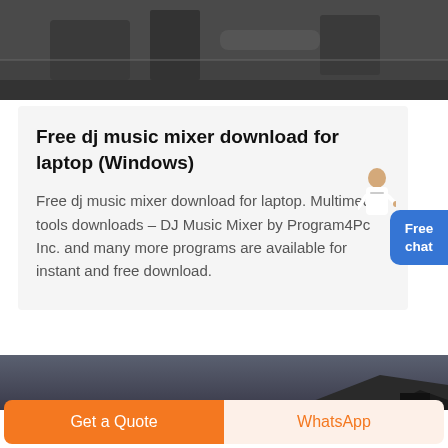[Figure (photo): Dark industrial machinery photo at the top of the page]
Free dj music mixer download for laptop (Windows)
Free dj music mixer download for laptop. Multimedia tools downloads - DJ Music Mixer by Program4Pc Inc. and many more programs are available for instant and free download.
[Figure (photo): Dark outdoor/landscape photo at the bottom of the page, partially visible]
Get a Quote
WhatsApp